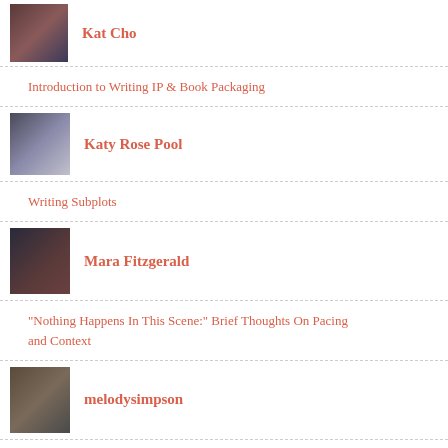[Figure (photo): Profile photo of Kat Cho]
Kat Cho
Introduction to Writing IP & Book Packaging
[Figure (photo): Profile photo of Katy Rose Pool]
Katy Rose Pool
Writing Subplots
[Figure (photo): Profile photo of Mara Fitzgerald]
Mara Fitzgerald
"Nothing Happens In This Scene:" Brief Thoughts On Pacing and Context
[Figure (photo): Profile photo of melodysimpson]
melodysimpson
Author Spotlight: Janella Angeles